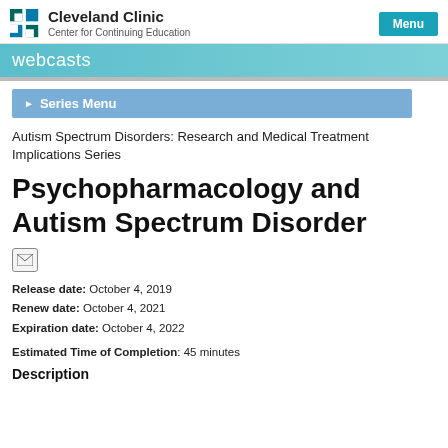Cleveland Clinic Center for Continuing Education
webcasts
Series Menu
Autism Spectrum Disorders: Research and Medical Treatment Implications Series
Psychopharmacology and Autism Spectrum Disorder
Release date: October 4, 2019
Renew date: October 4, 2021
Expiration date: October 4, 2022
Estimated Time of Completion: 45 minutes
Description